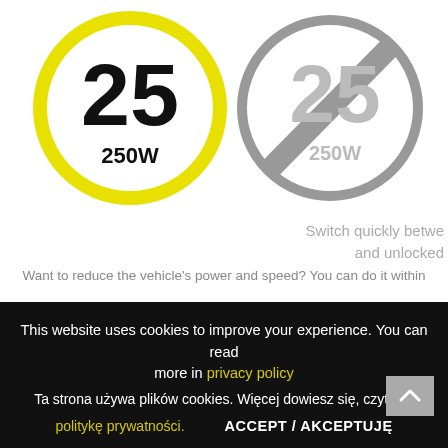[Figure (illustration): Two circular speed/power mode icons side by side. Left icon: yellow ring circle with bold black '25' and '250W' text inside on white background. Right icon: gray circle with diagonal slash through it (prohibition sign style), containing gray '25' and '250W' text.]
Switch quickly between
and unlocked
Want to reduce the vehicle's power and speed? You can do it within
This website uses cookies to improve your experience. You can read more in privacy policy
Ta strona używa plików cookies. Więcej dowiesz się, czytając
politykę prywatności.
ACCEPT / AKCEPTUJĘ